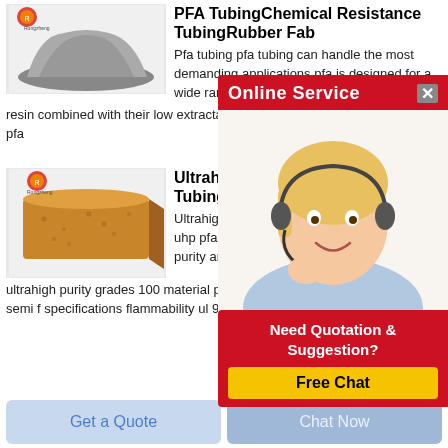[Figure (screenshot): Product listing page with two products (PFA tubing powder and brick), an Online Service popup overlay with a customer service agent, a Quotation popup, and two bottom buttons.]
PFA TubingChemical Resistance TubingRubber Fab
Pfa tubing pfa tubing can handle the most demanding applications pfa is designed for a wide range of corro... the non stick chara...
resin combined with their low extractable levels and ch... pfa
Ultrahigh Pur... TubingSwage...
Ultrahigh purity pfa... uhp pfa tubing featu... purity and advance... ultrahigh purity grades 100 material pfa has high thermal stability meets semi f specifications flammability ul 94
Get Price
Get a Quote
Chat Now
Online Service
Need Quotation & Suggestion?
Free Chat